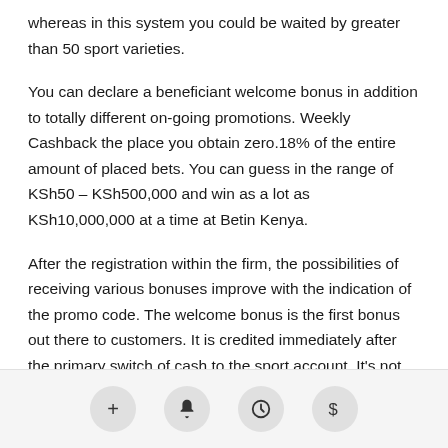whereas in this system you could be waited by greater than 50 sport varieties.
You can declare a beneficiant welcome bonus in addition to totally different on-going promotions. Weekly Cashback the place you obtain zero.18% of the entire amount of placed bets. You can guess in the range of KSh50 – KSh500,000 and win as a lot as KSh10,000,000 at a time at Betin Kenya.
After the registration within the firm, the possibilities of receiving various bonuses improve with the indication of the promo code. The welcome bonus is the first bonus out there to customers. It is credited immediately after the primary switch of cash to the sport account. It's not only the sports betting section that has stacks of promotions. For starters, new 1xBet clients can snap up the casino welcome bonus
+ 🔔 🕐 $